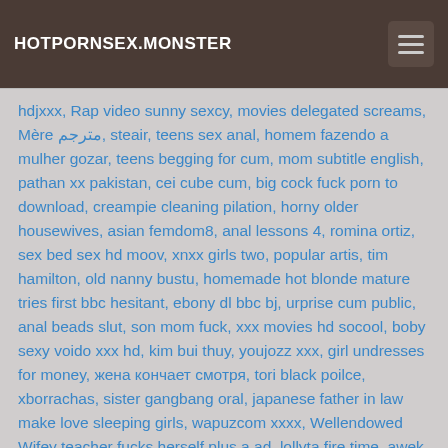HOTPORNSEX.MONSTER
hdjxxx, Rap video sunny sexcy, movies delegated screams, Mère مترجم, steair, teens sex anal, homem fazendo a mulher gozar, teens begging for cum, mom subtitle english, pathan xx pakistan, cei cube cum, big cock fuck porn to download, creampie cleaning pilation, horny older housewives, asian femdom8, anal lessons 4, romina ortiz, sex bed sex hd moov, xnxx girls two, popular artis, tim hamilton, old nanny bustu, homemade hot blonde mature tries first bbc hesitant, ebony dl bbc bj, urprise cum public, anal beads slut, son mom fuck, xxx movies hd socool, boby sexy voido xxx hd, kim bui thuy, youjozz xxx, girl undresses for money, жена кончает смотря, tori black poilce, xborrachas, sister gangbang oral, japanese father in law make love sleeping girls, wapuzcom xxxx, Wellendowed Wifey teacher fucks herself plus a ad, lollyta fire time, awek melayu onai, xxx videos big boobs first time